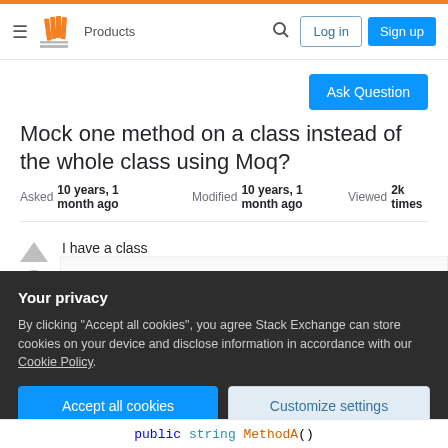Stack Overflow navigation: hamburger menu, logo, Products, search icon, Log in, Sign up
Ask Question
Mock one method on a class instead of the whole class using Moq?
Asked 10 years, 1 month ago   Modified 10 years, 1 month ago   Viewed 2k times
I have a class
Your privacy
By clicking "Accept all cookies", you agree Stack Exchange can store cookies on your device and disclose information in accordance with our Cookie Policy.
Accept all cookies   Customize settings
public string MethodA()